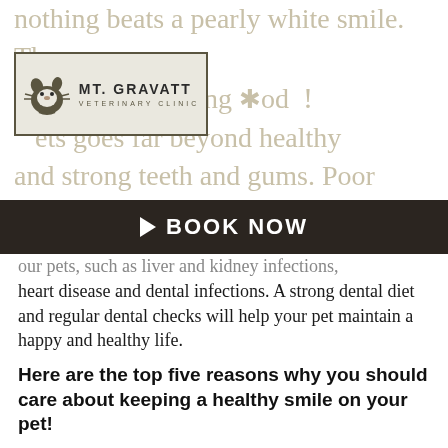Mt. Gravatt Veterinary Clinic logo
nothing beats a pearly white smile. The same friends! Maintaining good ! pets goes far beyond healthy and strong teeth and gums. Poor dental health
BOOK NOW
our pets, such as liver and kidney infections, heart disease and dental infections. A strong dental diet and regular dental checks will help your pet maintain a happy and healthy life.
Here are the top five reasons why you should care about keeping a healthy smile on your pet!
Protect your pet from kidney and liver diseases: Kidney and liver infections in our pets often arise from poor dental health.